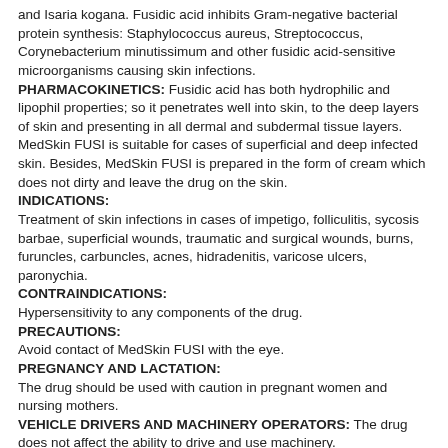and Isaria kogana. Fusidic acid inhibits Gram-negative bacterial protein synthesis: Staphylococcus aureus, Streptococcus, Corynebacterium minutissimum and other fusidic acid-sensitive microorganisms causing skin infections.
PHARMACOKINETICS: Fusidic acid has both hydrophilic and lipophil properties; so it penetrates well into skin, to the deep layers of skin and presenting in all dermal and subdermal tissue layers.
MedSkin FUSI is suitable for cases of superficial and deep infected skin. Besides, MedSkin FUSI is prepared in the form of cream which does not dirty and leave the drug on the skin.
INDICATIONS:
Treatment of skin infections in cases of impetigo, folliculitis, sycosis barbae, superficial wounds, traumatic and surgical wounds, burns, furuncles, carbuncles, acnes, hidradenitis, varicose ulcers, paronychia.
CONTRAINDICATIONS:
Hypersensitivity to any components of the drug.
PRECAUTIONS:
Avoid contact of MedSkin FUSI with the eye.
PREGNANCY AND LACTATION:
The drug should be used with caution in pregnant women and nursing mothers.
VEHICLE DRIVERS AND MACHINERY OPERATORS: The drug does not affect the ability to drive and use machinery.
INTERACTIONS:
MedSkin FUSI and other dermal drugs should not be used concomitantly